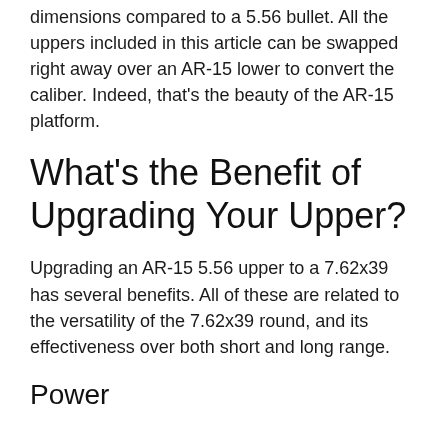dimensions compared to a 5.56 bullet. All the uppers included in this article can be swapped right away over an AR-15 lower to convert the caliber. Indeed, that's the beauty of the AR-15 platform.
What's the Benefit of Upgrading Your Upper?
Upgrading an AR-15 5.56 upper to a 7.62x39 has several benefits. All of these are related to the versatility of the 7.62x39 round, and its effectiveness over both short and long range.
Power